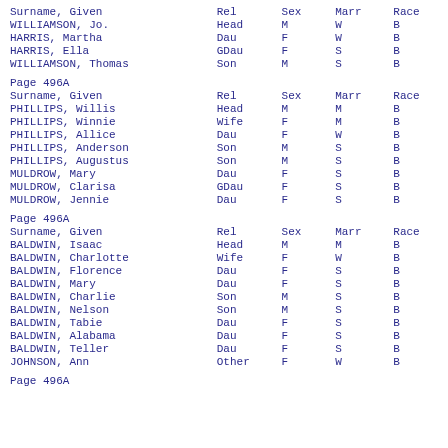| Surname, Given | Rel | Sex | Marr | Race |
| --- | --- | --- | --- | --- |
| WILLIAMSON, Jo. | Head | M | W | B |
| HARRIS, Martha | Dau | F | W | B |
| HARRIS, Ella | GDau | F | S | B |
| WILLIAMSON, Thomas | Son | M | S | B |
Page 496A
| Surname, Given | Rel | Sex | Marr | Race |
| --- | --- | --- | --- | --- |
| PHILLIPS, Willis | Head | M | M | B |
| PHILLIPS, Winnie | Wife | F | M | B |
| PHILLIPS, Allice | Dau | F | W | B |
| PHILLIPS, Anderson | Son | M | S | B |
| PHILLIPS, Augustus | Son | M | S | B |
| MULDROW, Mary | Dau | F | S | B |
| MULDROW, Clarisa | GDau | F | S | B |
| MULDROW, Jennie | Dau | F | S | B |
Page 496A
| Surname, Given | Rel | Sex | Marr | Race |
| --- | --- | --- | --- | --- |
| BALDWIN, Isaac | Head | M | M | B |
| BALDWIN, Charlotte | Wife | F | W | B |
| BALDWIN, Florence | Dau | F | S | B |
| BALDWIN, Mary | Dau | F | S | B |
| BALDWIN, Charlie | Son | M | S | B |
| BALDWIN, Nelson | Son | M | S | B |
| BALDWIN, Tabie | Dau | F | S | B |
| BALDWIN, Alabama | Dau | F | S | B |
| BALDWIN, Teller | Dau | F | S | B |
| JOHNSON, Ann | Other | F | W | B |
Page 496A